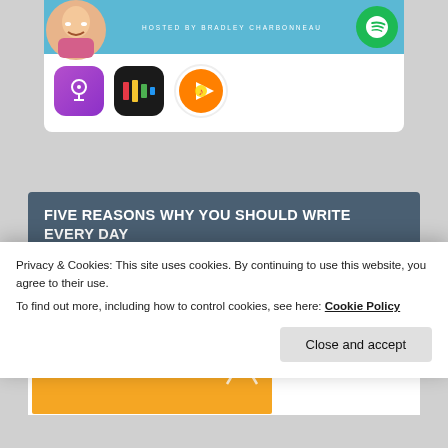[Figure (screenshot): Podcast banner with host photo (Bradley Charbonneau), light blue background, text 'HOSTED BY BRADLEY CHARBONNEAU', Spotify green circle logo]
[Figure (screenshot): Row of three podcast app icons: Apple Podcasts (purple microphone), RadioPublic/Castbox (black with colored bars), Google Podcasts Play (orange circle with play triangle)]
FIVE REASONS WHY YOU SHOULD WRITE EVERY DAY
[Figure (screenshot): Yellow/gold image with white bold text reading 'THE SILENT TREATMENT' with decorative elements]
Privacy & Cookies: This site uses cookies. By continuing to use this website, you agree to their use.
To find out more, including how to control cookies, see here: Cookie Policy
Close and accept